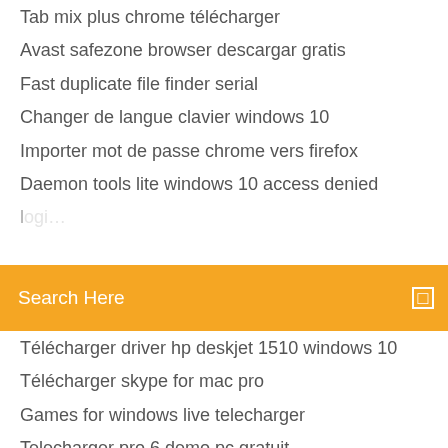Tab mix plus chrome télécharger
Avast safezone browser descargar gratis
Fast duplicate file finder serial
Changer de langue clavier windows 10
Importer mot de passe chrome vers firefox
Daemon tools lite windows 10 access denied
(partially visible item)
Search Here
Télécharger driver hp deskjet 1510 windows 10
Télécharger skype for mac pro
Games for windows live telecharger
Telecharger pro 6 demo pc gratuit
The walking dead season 2 game télécharger mega
Adobe acrobat reader x pro
Telecharger logiciel chaines tv gratuit
Application dictionnaire gratuit en français
Saga candy crush free
Jeu gratuit de construction de ville romaine